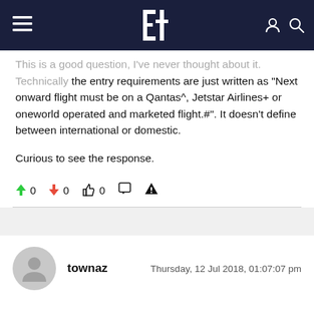Executive Traveller website header with logo and navigation icons
This is a good question, I've never thought about it. Technically the entry requirements are just written as "Next onward flight must be on a Qantas^, Jetstar Airlines+ or oneworld operated and marketed flight.#". It doesn't define between international or domestic.

Curious to see the response.
↑ 0  ↓ 0  👍 0  💬  ⚠
townaz  Thursday, 12 Jul 2018, 01:07:07 pm